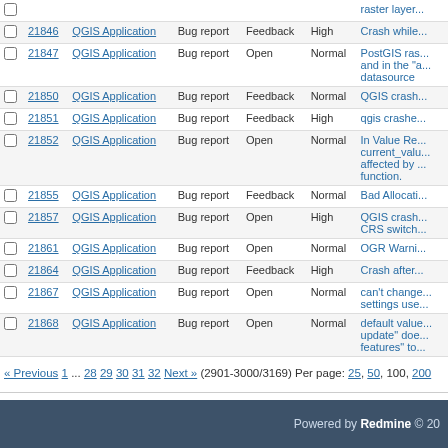|  | # | Project | Tracker | Status | Priority | Subject |
| --- | --- | --- | --- | --- | --- | --- |
|  | 21846 | QGIS Application | Bug report | Feedback | High | Crash while raster layer... |
|  | 21847 | QGIS Application | Bug report | Open | Normal | PostGIS ras... and in the "a... datasource |
|  | 21850 | QGIS Application | Bug report | Feedback | Normal | QGIS crash... |
|  | 21851 | QGIS Application | Bug report | Feedback | High | qgis crashe... |
|  | 21852 | QGIS Application | Bug report | Open | Normal | In Value Re... current_valu... affected by... function. |
|  | 21855 | QGIS Application | Bug report | Feedback | Normal | Bad Allocati... |
|  | 21857 | QGIS Application | Bug report | Open | High | QGIS crash... CRS switch... |
|  | 21861 | QGIS Application | Bug report | Open | Normal | OGR Warni... |
|  | 21864 | QGIS Application | Bug report | Feedback | High | Crash after... |
|  | 21867 | QGIS Application | Bug report | Open | Normal | can't change... settings use... |
|  | 21868 | QGIS Application | Bug report | Open | Normal | default value... update" doe... features" to... |
« Previous 1 ... 28 29 30 31 32 Next » (2901-3000/3169) Per page: 25, 50, 100, 200
Powered by Redmine © 20...